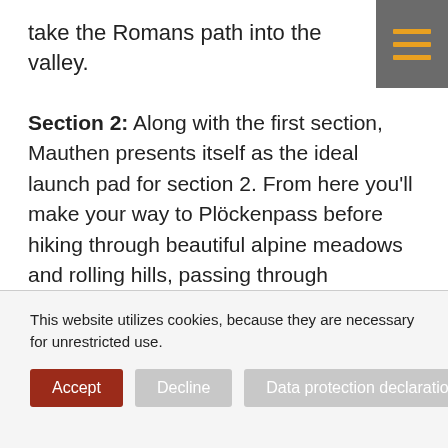take the Romans path into the valley.
Section 2: Along with the first section, Mauthen presents itself as the ideal launch pad for section 2. From here you'll make your way to Plöckenpass before hiking through beautiful alpine meadows and rolling hills, passing through Nassfeld, to reach the final destination of Thörl-Maglern.
Bergsteigerdorf Partners
Along with all the "Bergsteigerdörfer" in Austria, we
This website utilizes cookies, because they are necessary for unrestricted use.